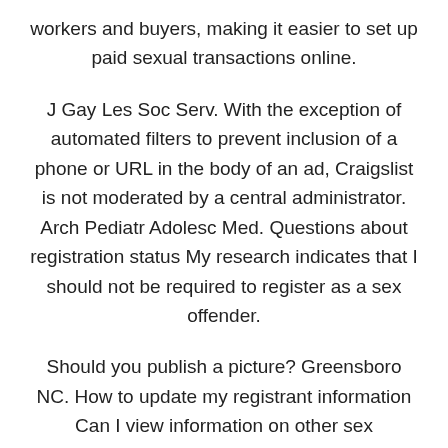workers and buyers, making it easier to set up paid sexual transactions online.
J Gay Les Soc Serv. With the exception of automated filters to prevent inclusion of a phone or URL in the body of an ad, Craigslist is not moderated by a central administrator. Arch Pediatr Adolesc Med. Questions about registration status My research indicates that I should not be required to register as a sex offender.
Should you publish a picture? Greensboro NC. How to update my registrant information Can I view information on other sex offenders? One study estimated between two and four thousand were posted in the New York City men-seeking-men section every day Grov, There